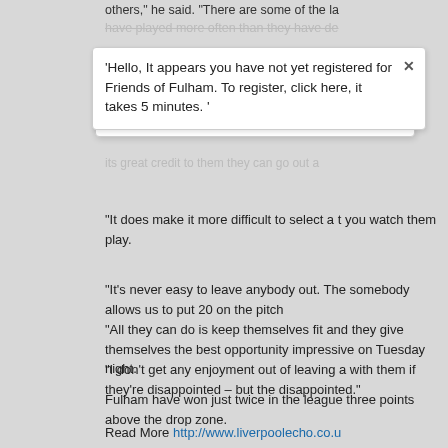others," he said. "There are some of the la
have played more often than they have de
'Hello, It appears you have not yet registered for Friends of Fulham. To register, click here, it takes 5 minutes. '
its great credit to them they can go out a
"It does make it more difficult to select a t you watch them play.
"It's never easy to leave anybody out. The somebody allows us to put 20 on the pitch
"All they can do is keep themselves fit and they give themselves the best opportunity impressive on Tuesday night.
"I don't get any enjoyment out of leaving a with them if they're disappointed – but the disappointed."
Fulham have won just twice in the league three points above the drop zone.
Read More http://www.liverpoolecho.co.u